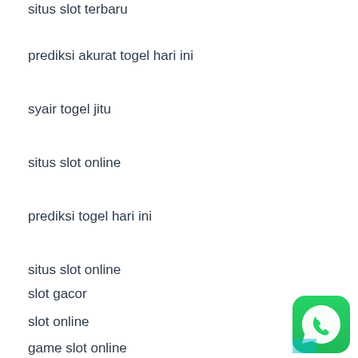situs slot terbaru
prediksi akurat togel hari ini
syair togel jitu
situs slot online
prediksi togel hari ini
situs slot online
slot online
slot gacor
game slot online
[Figure (logo): WhatsApp logo icon - green rounded square with white phone/chat bubble icon]